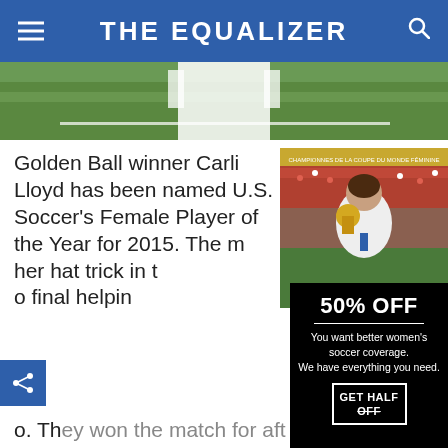THE EQUALIZER
[Figure (photo): Partial view of soccer player in white uniform on green field]
Golden Ball winner Carli Lloyd has been named U.S. Soccer's Female Player of the Year for 2015. The m[atch...] her hat trick in [the] o final helpin[g...] o[n...] Th[ey won the match f]o[r] aft[er which Lloyd...]
[Figure (photo): Carli Lloyd kissing the Golden Ball trophy in a stadium filled with fans]
[Figure (infographic): Promotional overlay: 50% OFF - You want better women's soccer coverage. We have everything you need. GET HALF OFF button.]